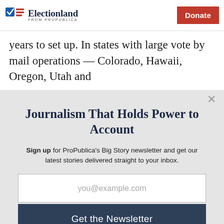Electionland FROM PROPUBLICA | Donate
years to set up. In states with large vote by mail operations — Colorado, Hawaii, Oregon, Utah and
Journalism That Holds Power to Account
Sign up for ProPublica's Big Story newsletter and get our latest stories delivered straight to your inbox.
you@example.com
Get the Newsletter
No thanks, I'm all set
This site is protected by reCAPTCHA and the Google Privacy Policy and Terms of Service apply.